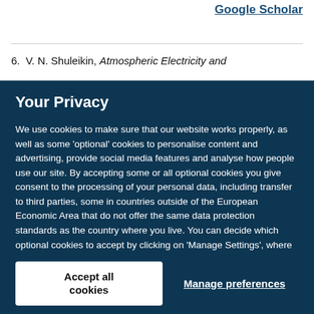Google Scholar
6. V. N. Shuleikin, Atmospheric Electricity and
Your Privacy
We use cookies to make sure that our website works properly, as well as some 'optional' cookies to personalise content and advertising, provide social media features and analyse how people use our site. By accepting some or all optional cookies you give consent to the processing of your personal data, including transfer to third parties, some in countries outside of the European Economic Area that do not offer the same data protection standards as the country where you live. You can decide which optional cookies to accept by clicking on 'Manage Settings', where you can also find more information about how your personal data is processed. Further information can be found in our privacy policy.
Accept all cookies
Manage preferences